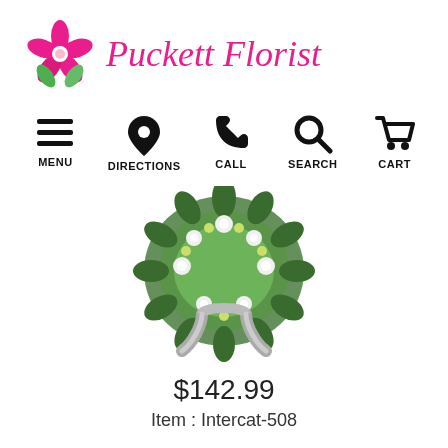[Figure (logo): Puckett Florist logo with pink flower graphic and italic pink text]
[Figure (infographic): Navigation bar with five icon buttons: MENU (hamburger), DIRECTIONS (pin), CALL (phone), SEARCH (magnifier), CART (shopping cart)]
[Figure (photo): Green and white funeral/sympathy wreath arrangement with white ribbon, on white background]
$142.99
Item : Intercat-508